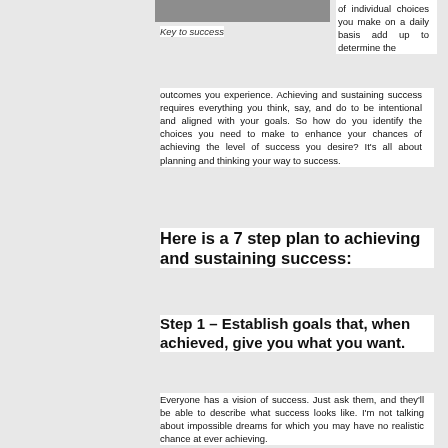[Figure (photo): Grayscale photo (partial visible at top), likely a person or object related to success]
Key to success
of individual choices you make on a daily basis add up to determine the outcomes you experience. Achieving and sustaining success requires everything you think, say, and do to be intentional and aligned with your goals. So how do you identify the choices you need to make to enhance your chances of achieving the level of success you desire? It's all about planning and thinking your way to success.
Here is a 7 step plan to achieving and sustaining success:
Step 1 – Establish goals that, when achieved, give you what you want.
Everyone has a vision of success. Just ask them, and they'll be able to describe what success looks like. I'm not talking about impossible dreams for which you may have no realistic chance at ever achieving.